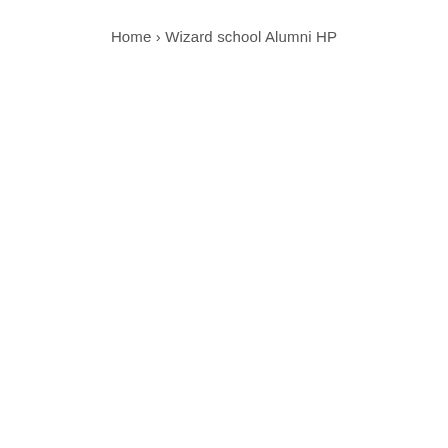Home › Wizard school Alumni HP